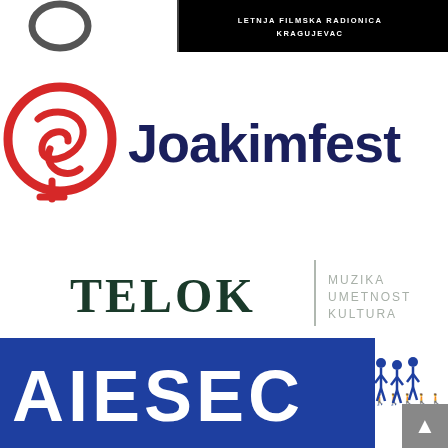[Figure (logo): Top black band with partial logo on left and text 'LETNJA FILMSKA RADIONICA KRAGUJEVAC' on right]
[Figure (logo): Joakimfest logo: red circular symbol with stylized face on left, dark navy bold text 'Joakimfest' on right]
[Figure (logo): TELOK logo: dark green serif text 'TELOK', vertical grey divider, grey sans-serif text reading 'MUZIKA / UMETNOST / KULTURA']
[Figure (logo): AIESEC logo: partial blue rectangle with white bold letters 'AIESEC' and small people icons on right side, scroll-to-top button in bottom right corner]